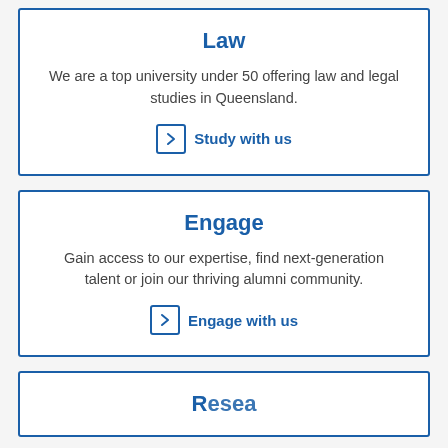Law
We are a top university under 50 offering law and legal studies in Queensland.
Study with us
Engage
Gain access to our expertise, find next-generation talent or join our thriving alumni community.
Engage with us
Research